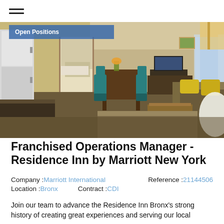≡
[Figure (photo): Interior photo of a Residence Inn hotel room showing a kitchenette area with refrigerator on the left, dining area with dark wood table and teal chairs in the center, a flat-screen TV on a dresser, windows with sheer curtains, a sofa with yellow pillows on the right, and warm ambient lighting.]
Franchised Operations Manager - Residence Inn by Marriott New York
Company : Marriott International    Reference : 21144506
Location : Bronx    Contract : CDI
Join our team to advance the Residence Inn Bronx's strong history of creating great experiences and serving our local